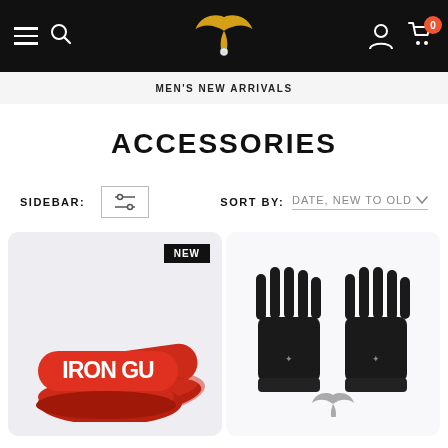[Figure (screenshot): E-commerce navigation bar with hamburger menu, search icon, brand logo (winged design in gold/white), user icon, and cart icon with badge showing 0]
MEN'S NEW ARRIVALS
ACCESSORIES
SIDEBAR: [filter icon] SORT BY: DATE, NEW TO OLD
[Figure (photo): Red slide sandals with white IRON GU text logo on strap, with NEW badge]
[Figure (photo): Black fingerless gym gloves with brand winged logo]